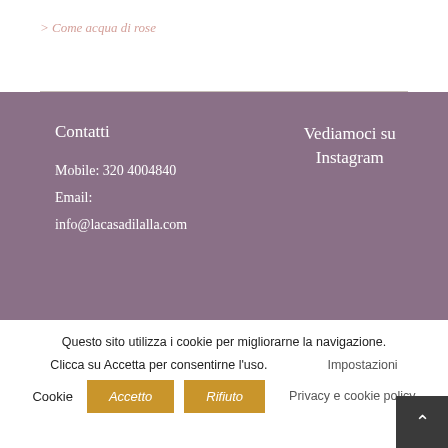> Come acqua di rose
Contatti
Mobile: 320 4004840
Email:
info@lacasadilalla.com
Vediamoci su Instagram
Questo sito utilizza i cookie per migliorarne la navigazione.
Clicca su Accetta per consentirne l'uso.   Impostazioni Cookie   Accetto   Rifiuto   Privacy e cookie policy